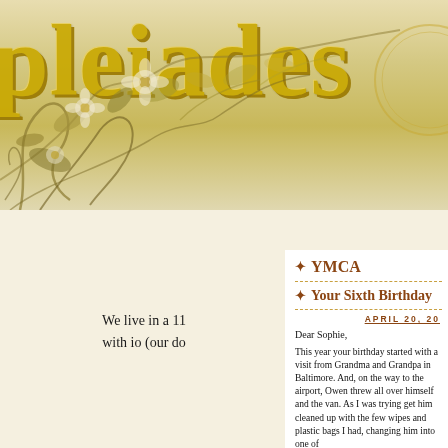pleiades
We live in a 11 with io (our do
YMCA
Your Sixth Birthday
APRIL 20, 20
Dear Sophie,
This year your birthday started with a visit from Grandma and Grandpa in Baltimore. And, on the way to the airport, Owen threw all over himself and the van. As I was trying get him cleaned up with the few wipes and plastic bags I had, changing him into one of